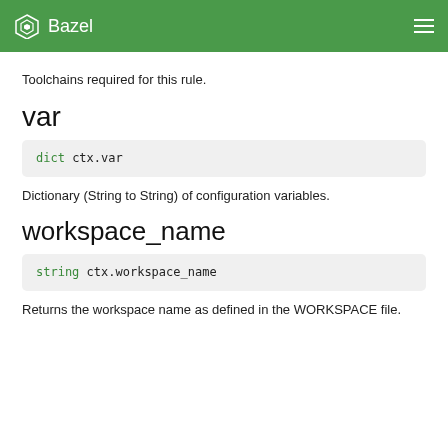Bazel
Toolchains required for this rule.
var
Dictionary (String to String) of configuration variables.
workspace_name
Returns the workspace name as defined in the WORKSPACE file.